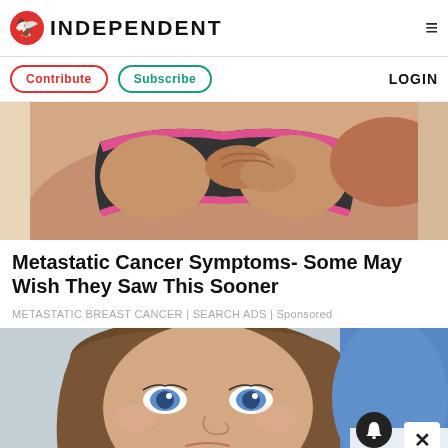INDEPENDENT
Contribute | Subscribe | LOGIN
[Figure (photo): Close-up of a person in a dark sports bra with pink trim touching their chest/breast area, health awareness image]
Metastatic Cancer Symptoms- Some May Wish They Saw This Sooner
METASTATIC BREAST CANCER | SEARCH ADS | Sponsored
[Figure (photo): Close-up portrait of a young woman with blue eyes and brown hair, with a gloved hand partially visible in the background]